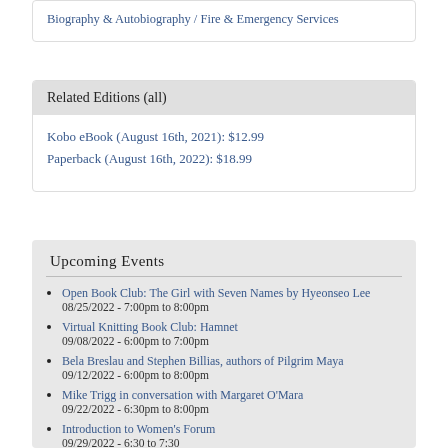Biography & Autobiography / Fire & Emergency Services
Related Editions (all)
Kobo eBook (August 16th, 2021): $12.99
Paperback (August 16th, 2022): $18.99
Upcoming Events
Open Book Club: The Girl with Seven Names by Hyeonseo Lee
08/25/2022 - 7:00pm to 8:00pm
Virtual Knitting Book Club: Hamnet
09/08/2022 - 6:00pm to 7:00pm
Bela Breslau and Stephen Billias, authors of Pilgrim Maya
09/12/2022 - 6:00pm to 8:00pm
Mike Trigg in conversation with Margaret O'Mara
09/22/2022 - 6:30pm to 8:00pm
Introduction to Women's Forum
09/29/2022 - 6:30 to 7:30